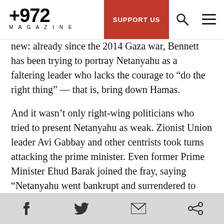+972 MAGAZINE | SUPPORT US
new: already since the 2014 Gaza war, Bennett has been trying to portray Netanyahu as a faltering leader who lacks the courage to “do the right thing” — that is, bring down Hamas.
And it wasn’t only right-wing politicians who tried to present Netanyahu as weak. Zionist Union leader Avi Gabbay and other centrists took turns attacking the prime minister. Even former Prime Minister Ehud Barak joined the fray, saying “Netanyahu went bankrupt and surrendered to Hamas under fire.”
Haaretz columnist Gideon Levy decided to see
Facebook | Twitter | Email | Share